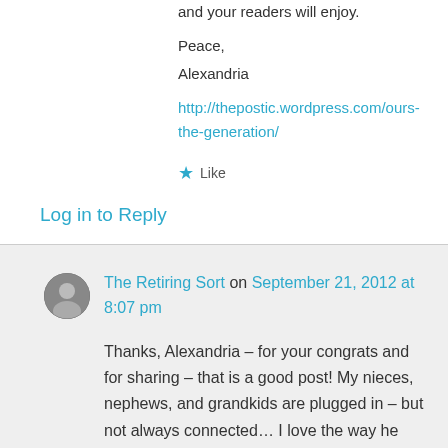and your readers will enjoy.
Peace,
Alexandria
http://thepostic.wordpress.com/ours-the-generation/
★ Like
Log in to Reply
The Retiring Sort on September 21, 2012 at 8:07 pm
Thanks, Alexandria – for your congrats and for sharing – that is a good post! My nieces, nephews, and grandkids are plugged in – but not always connected… I love the way he made that distinction. Have a great